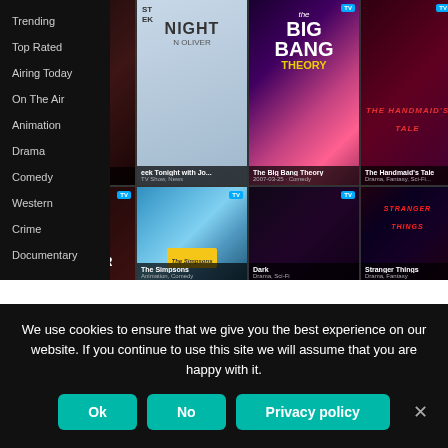[Figure (screenshot): Screenshot of a TV/movie streaming app (likely TMDB or similar) showing a left navigation menu with categories (Trending, Top Rated, Airing Today, On The Air, Animation, Drama, Comedy, Western, Crime, Documentary) and a grid of TV show thumbnails including The Big Bang Theory, The Handmaid's Tale, Pennyworth, Fear, The Simpsons, Stranger Things.]
Top Movie Streaming Apps In 2020
We use cookies to ensure that we give you the best experience on our website. If you continue to use this site we will assume that you are happy with it.